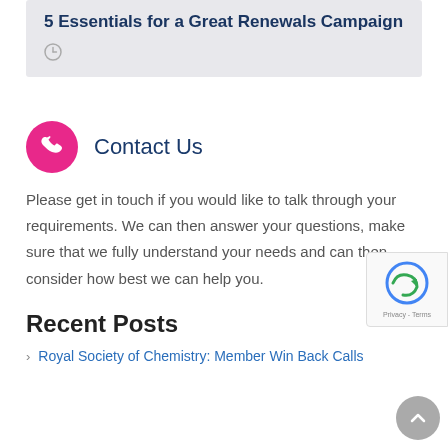5 Essentials for a Great Renewals Campaign
[Figure (other): Clock/time icon (grey circle outline)]
[Figure (other): Pink circle with white phone handset icon — Contact Us section header icon]
Contact Us
Please get in touch if you would like to talk through your requirements. We can then answer your questions, make sure that we fully understand your needs and can then consider how best we can help you.
Recent Posts
Royal Society of Chemistry: Member Win Back Calls
[Figure (other): reCAPTCHA widget with Privacy and Terms links]
[Figure (other): Grey circular scroll-to-top button with upward chevron]